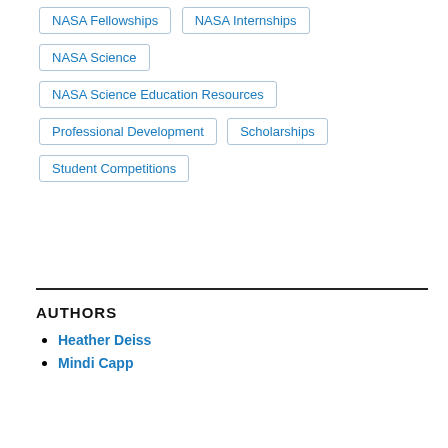NASA Fellowships
NASA Internships
NASA Science
NASA Science Education Resources
Professional Development
Scholarships
Student Competitions
AUTHORS
Heather Deiss
Mindi Capp